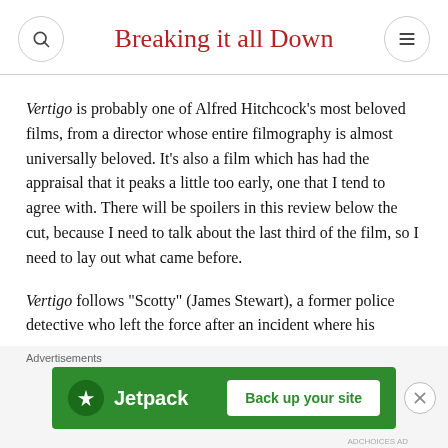Breaking it all Down
Vertigo is probably one of Alfred Hitchcock's most beloved films, from a director whose entire filmography is almost universally beloved. It's also a film which has had the appraisal that it peaks a little too early, one that I tend to agree with. There will be spoilers in this review below the cut, because I need to talk about the last third of the film, so I need to lay out what came before.
Vertigo follows “Scotty” (James Stewart), a former police detective who left the force after an incident where his
[Figure (screenshot): Jetpack advertisement banner with logo and 'Back up your site' button on green background]